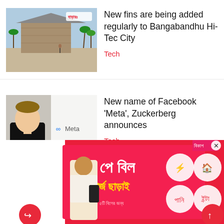[Figure (photo): Photo of Bangabandhu Hi-Tec City building exterior with palm trees and a watermark logo]
New fins are being added regularly to Bangabandhu Hi- Tec City
Tech
[Figure (photo): Photo of Mark Zuckerberg alongside Meta logo on white background]
New name of Facebook 'Meta', Zuckerberg announces
Tech
[Figure (photo): Partial photo for Grameenphone article]
Grameenphone brings in
[Figure (photo): Advertisement banner in Bengali - পে বিল চার্জ ছাড়াই with bKash logo and service icons]